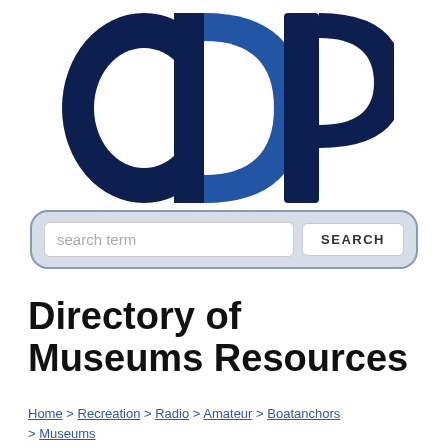[Figure (logo): ODP logo — large stylized letters O, D, P in dark navy and medium blue, overlapping, bold sans-serif style]
search term   SEARCH
Directory of Museums Resources
Home > Recreation > Radio > Amateur > Boatanchors > Museums